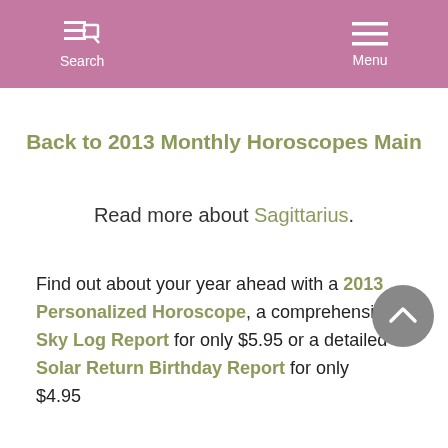Search  Menu
Back to 2013 Monthly Horoscopes Main
Read more about Sagittarius.
Find out about your year ahead with a 2013 Personalized Horoscope, a comprehensive Sky Log Report for only $5.95 or a detailed Solar Return Birthday Report for only $4.95